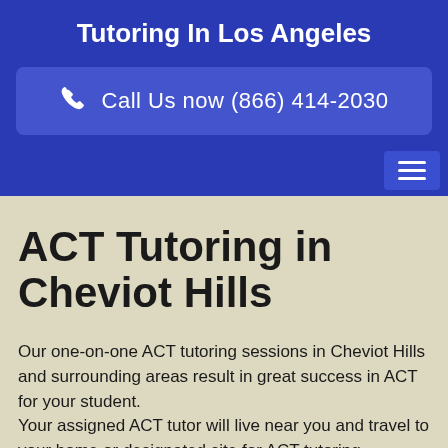Tutoring In Los Angeles
Call Us now (866) 414-2030
ACT Tutoring in Cheviot Hills
Our one-on-one ACT tutoring sessions in Cheviot Hills and surrounding areas result in great success in ACT for your student.
Your assigned ACT tutor will live near you and travel to your home or designated site for ACT tutoring sessions.
Private ACT tutoring will help your student to master the skills...